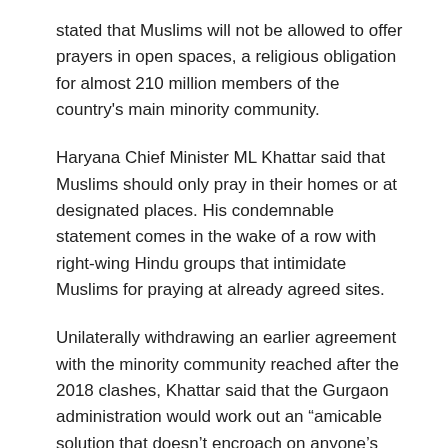stated that Muslims will not be allowed to offer prayers in open spaces, a religious obligation for almost 210 million members of the country's main minority community.
Haryana Chief Minister ML Khattar said that Muslims should only pray in their homes or at designated places. His condemnable statement comes in the wake of a row with right-wing Hindu groups that intimidate Muslims for praying at already agreed sites.
Unilaterally withdrawing an earlier agreement with the minority community reached after the 2018 clashes, Khattar said that the Gurgaon administration would work out an “amicable solution that doesn’t encroach on anyone’s rights”.
Read more: Fudging the population: The missing 90 million Indian Muslims
“I have spoken to the police and this issue must be resolved. We don’t have problems with anyone praying at places of worship. Those places have been built for this purpose,” NDTV quoted CM Haryana as saying.